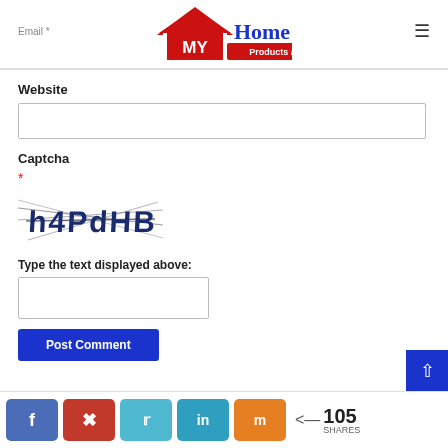Email *
[Figure (logo): My Home Products and Decor logo — red house icon with 'MY' in white on red background and 'Home Products and Decor' in blue and red text]
Website
Captcha
*
[Figure (other): CAPTCHA image showing distorted text 'h4PdHB' in dark blue with strikethrough lines on white background]
Type the text displayed above:
Post Comment
105 SHARES